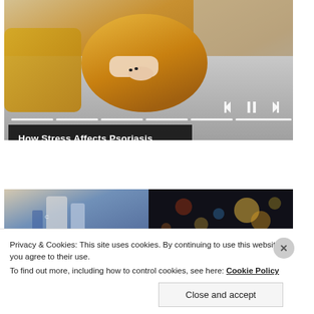[Figure (photo): Woman in yellow knit sweater sitting on a couch scratching her arm, with video player controls (skip back, pause, skip forward) and a progress bar overlay. Title bar reads 'How Stress Affects Psoriasis'.]
How Stress Affects Psoriasis
[Figure (photo): Two side-by-side images: left shows medical/pharmacy equipment in blue tones, right shows blurred bokeh lights in dark background.]
Privacy & Cookies: This site uses cookies. By continuing to use this website, you agree to their use.
To find out more, including how to control cookies, see here: Cookie Policy
Close and accept